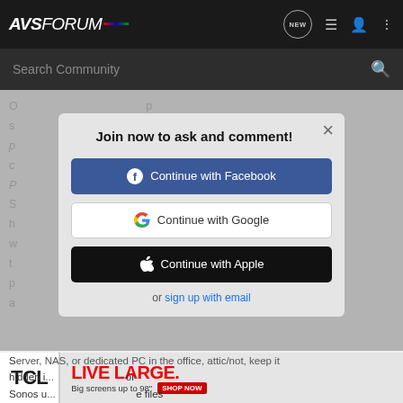AVS FORUM
Search Community
O... s... p... c... P... S... h... w... th... pl... a...
[Figure (screenshot): Modal dialog overlay on AVS Forum website with title 'Join now to ask and comment!' and three sign-in buttons: Continue with Facebook, Continue with Google, Continue with Apple, and a link 'or sign up with email'. Background shows blurred forum post text.]
Join now to ask and comment!
Continue with Facebook
Continue with Google
Continue with Apple
or sign up with email
Server, NAS, or dedicated PC in the office, attic/not, keep it hidden i... or Sonos u... e files
[Figure (infographic): TCL advertisement banner: 'LIVE LARGE. Big screens up to 98" SHOP NOW']